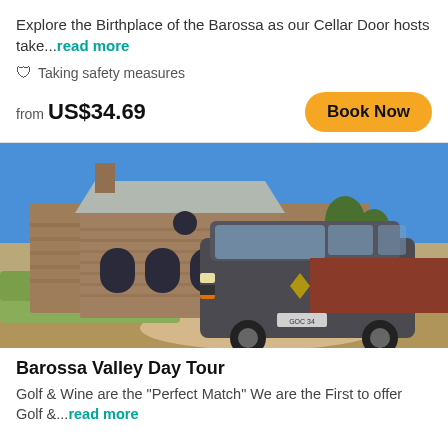Explore the Birthplace of the Barossa as our Cellar Door hosts take...read more
🛡 Taking safety measures
from US$34.69
Book Now
[Figure (photo): A dark grey van/minibus parked in front of a stone building (winery/cellar door) under a clear blue sky. Surrounded by gravel driveway and landscaped grounds.]
Barossa Valley Day Tour
Golf & Wine are the "Perfect Match" We are the First to offer Golf &...read more